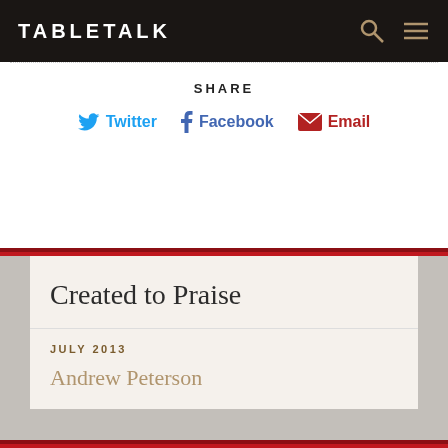TABLETALK
SHARE
Twitter  Facebook  Email
Created to Praise
JULY 2013
Andrew Peterson